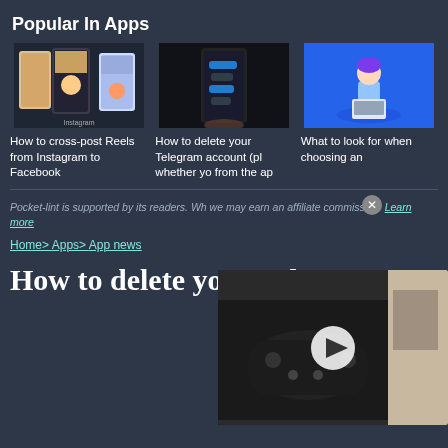Popular In Apps
[Figure (photo): Three smartphone screens showing Instagram Reels interface]
[Figure (photo): Hand holding a smartphone showing Telegram app interface in dark background]
[Figure (illustration): Illustrated woman sitting with laptop on blue background]
How to cross-post Reels from Instagram to Facebook
How to delete your Telegram account (pl whether yo from the ap
What to look for when choosing an
[Figure (screenshot): Video player overlay showing a hand holding a game controller, with play button]
Pocket-lint is supported by its readers. Wh we may earn an affiliate commission. Learn more
Home> Apps> App news
How to delete your Telegram